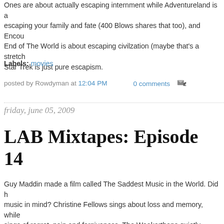Ones are about actually escaping internment while Adventureland is about escaping your family and fate (400 Blows shares that too), and Encou... End of The World is about escaping civilzation (maybe that's a stretch)... Star Trek is just pure escapism.
Labels: movies
posted by Rowdyman at 12:04 PM    0 comments
friday, june 05, 2009
LAB Mixtapes: Episode 14
Guy Maddin made a film called The Saddest Music in the World. Did h... music in mind? Christine Fellows sings about loss and memory, while... sings of regret, pain and forgiveness. The Weakerthans quietly rumina... simple prayer in a hospital room. Sarah Harmer may be the odd one o...